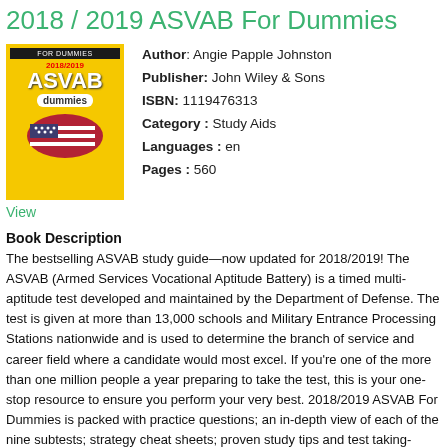2018 / 2019 ASVAB For Dummies
[Figure (illustration): Book cover of 2018/2019 ASVAB For Dummies with yellow background, title text, and American flags graphic]
Author: Angie Papple Johnston
Publisher: John Wiley & Sons
ISBN: 1119476313
Category : Study Aids
Languages : en
Pages : 560
View
Book Description
The bestselling ASVAB study guide—now updated for 2018/2019! The ASVAB (Armed Services Vocational Aptitude Battery) is a timed multi-aptitude test developed and maintained by the Department of Defense. The test is given at more than 13,000 schools and Military Entrance Processing Stations nationwide and is used to determine the branch of service and career field where a candidate would most excel. If you're one of the more than one million people a year preparing to take the test, this is your one-stop resource to ensure you perform your very best. 2018/2019 ASVAB For Dummies is packed with practice questions; an in-depth view of each of the nine subtests; strategy cheat sheets; proven study tips and test taking-tactics, as well as 3 full-length